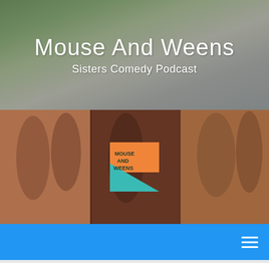Mouse And Weens
Sisters Comedy Podcast
[Figure (photo): Vintage sepia-toned photo strip showing children, with Mouse And Weens podcast logo overlay in orange/teal colors]
Navigation bar with hamburger menu icon
Tag Archives: Bing
Family of Fine-Tuned Females